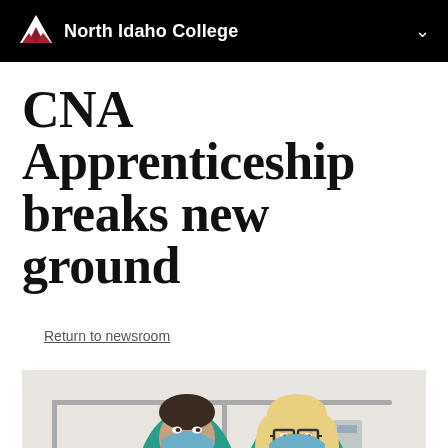North Idaho College
CNA Apprenticeship breaks new ground
Return to newsroom
[Figure (photo): Two women wearing teal scrubs and blue face masks pose in what appears to be a medical training lab with a hospital bed and medical equipment in the background.]